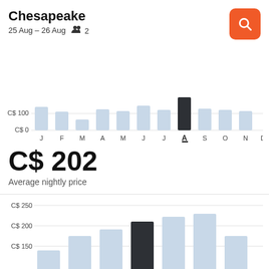Chesapeake
25 Aug – 26 Aug   👥 2
[Figure (bar-chart): Monthly average price]
C$ 202
Average nightly price
[Figure (bar-chart): Nightly price by weekday]